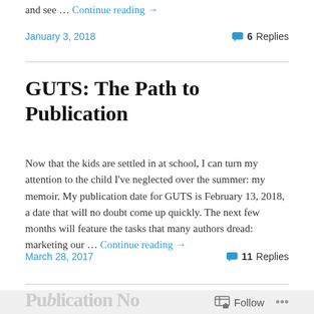and see … Continue reading →
January 3, 2018   💬 6 Replies
GUTS: The Path to Publication
Now that the kids are settled in at school, I can turn my attention to the child I've neglected over the summer: my memoir. My publication date for GUTS is February 13, 2018, a date that will no doubt come up quickly. The next few months will feature the tasks that many authors dread: marketing our … Continue reading →
March 28, 2017   💬 11 Replies